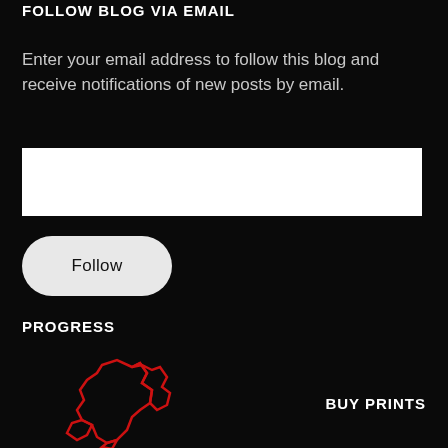FOLLOW BLOG VIA EMAIL
Enter your email address to follow this blog and receive notifications of new posts by email.
[Figure (other): Email input text field (white rectangle)]
[Figure (other): Follow button with rounded rectangle shape]
PROGRESS
[Figure (illustration): Red outline illustration of a map or geographic shape (possibly UK or similar) on black background]
BUY PRINTS